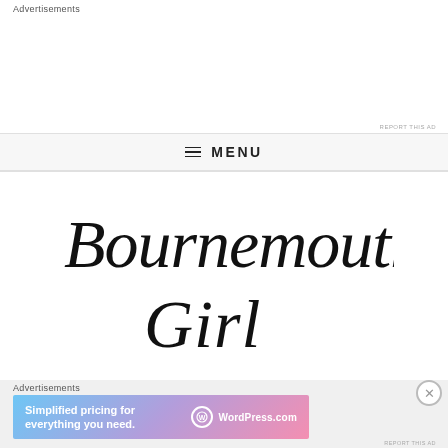Advertisements
REPORT THIS AD
MENU
[Figure (logo): Bournemouth Girl blog logo in decorative cursive/script handwriting, black on white]
Advertisements
[Figure (infographic): WordPress.com advertisement banner: 'Simplified pricing for everything you need.' with WordPress.com logo on gradient blue-pink background]
REPORT THIS AD